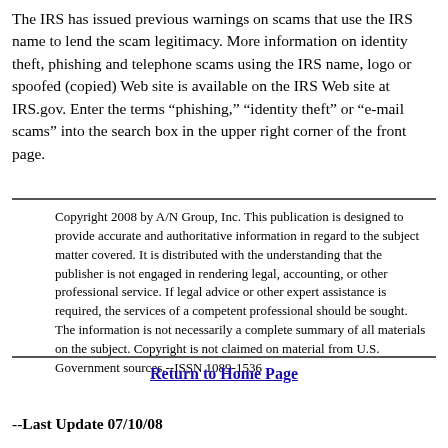The IRS has issued previous warnings on scams that use the IRS name to lend the scam legitimacy. More information on identity theft, phishing and telephone scams using the IRS name, logo or spoofed (copied) Web site is available on the IRS Web site at IRS.gov. Enter the terms “phishing,” “identity theft” or “e-mail scams” into the search box in the upper right corner of the front page.
Copyright 2008 by A/N Group, Inc. This publication is designed to provide accurate and authoritative information in regard to the subject matter covered. It is distributed with the understanding that the publisher is not engaged in rendering legal, accounting, or other professional service. If legal advice or other expert assistance is required, the services of a competent professional should be sought. The information is not necessarily a complete summary of all materials on the subject. Copyright is not claimed on material from U.S. Government sources.--ISSN 1089-1536
Return to Home Page
--Last Update 07/10/08